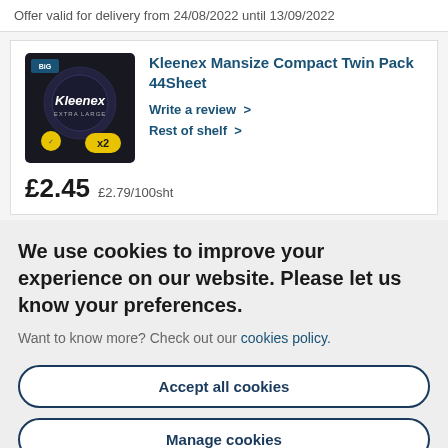Offer valid for delivery from 24/08/2022 until 13/09/2022
[Figure (photo): Kleenex Mansize Compact Twin Pack product box, dark background with x2 label]
Kleenex Mansize Compact Twin Pack 44Sheet
Write a review >
Rest of shelf >
£2.45  £2.79/100sht
We use cookies to improve your experience on our website. Please let us know your preferences.
Want to know more? Check out our cookies policy.
Accept all cookies
Manage cookies